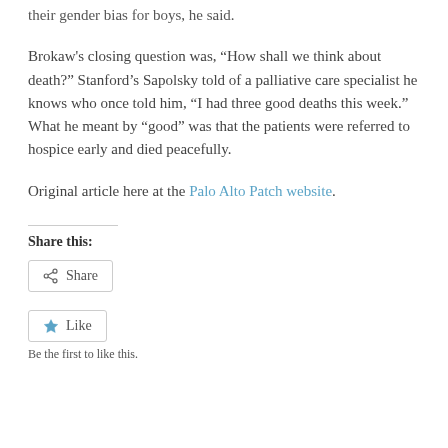their gender bias for boys, he said.
Brokaw's closing question was, “How shall we think about death?” Stanford’s Sapolsky told of a palliative care specialist he knows who once told him, “I had three good deaths this week.” What he meant by “good” was that the patients were referred to hospice early and died peacefully.
Original article here at the Palo Alto Patch website.
Share this:
Share
Like
Be the first to like this.